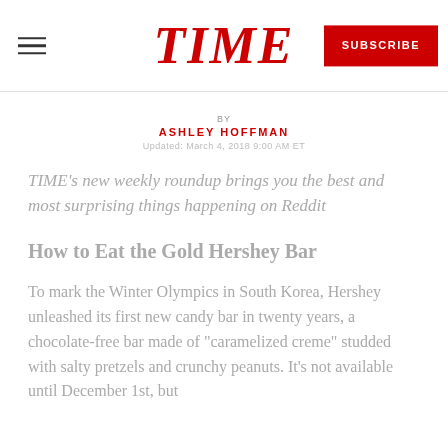TIME | SUBSCRIBE
BY ASHLEY HOFFMAN
Updated: March 4, 2018 9:00 AM ET
TIME's new weekly roundup brings you the best and most surprising things happening on Reddit
How to Eat the Gold Hershey Bar
To mark the Winter Olympics in South Korea, Hershey unleashed its first new candy bar in twenty years, a chocolate-free bar made of "caramelized creme" studded with salty pretzels and crunchy peanuts. It's not available until December 1st, but